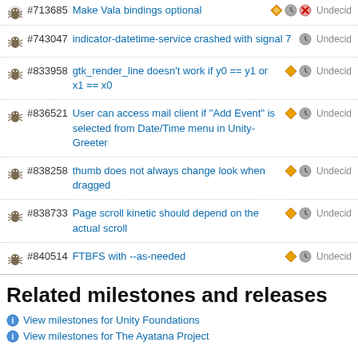#713685 Make Vala bindings optional – Undecided
#743047 indicator-datetime-service crashed with signal 7 – Undecided
#833958 gtk_render_line doesn't work if y0 == y1 or x1 == x0 – Undecided
#836521 User can access mail client if "Add Event" is selected from Date/Time menu in Unity-Greeter – Undecided
#838258 thumb does not always change look when dragged – Undecided
#838733 Page scroll kinetic should depend on the actual scroll – Undecided
#840514 FTBFS with --as-needed – Undecided
Related milestones and releases
View milestones for Unity Foundations
View milestones for The Ayatana Project